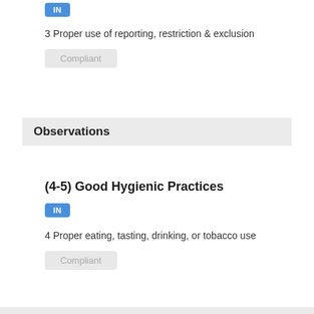[Figure (other): Blue 'IN' badge button]
3 Proper use of reporting, restriction & exclusion
Compliant
Observations
(4-5) Good Hygienic Practices
[Figure (other): Blue 'IN' badge button]
4 Proper eating, tasting, drinking, or tobacco use
Compliant